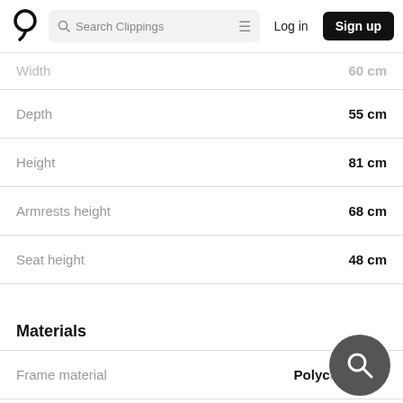Search Clippings | Log in | Sign up
| Property | Value |
| --- | --- |
| Width | 60 cm |
| Depth | 55 cm |
| Height | 81 cm |
| Armrests height | 68 cm |
| Seat height | 48 cm |
Materials
| Property | Value |
| --- | --- |
| Frame material | Polycarbonate |